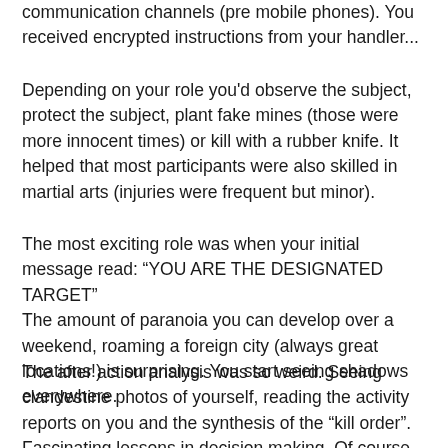communication channels (pre mobile phones). You received encrypted instructions from your handler...
Depending on your role you'd observe the subject, protect the subject, plant fake mines (those were more innocent times) or kill with a rubber knife. It helped that most participants were also skilled in martial arts (injuries were frequent but minor).
The most exciting role was when your initial message read: “YOU ARE THE DESIGNATED TARGET” The amount of paranoia you can develop over a weekend, roaming a foreign city (always great locations!) is surprising. You start seeing shadows everywhere.
The after action analysis was so weird. Seeing clandestine photos of yourself, reading the activity reports on you and the synthesis of the “kill order”. Fascinating lessons in decision making. Of course all of this was sandboxed and used minuscule amounts of data.